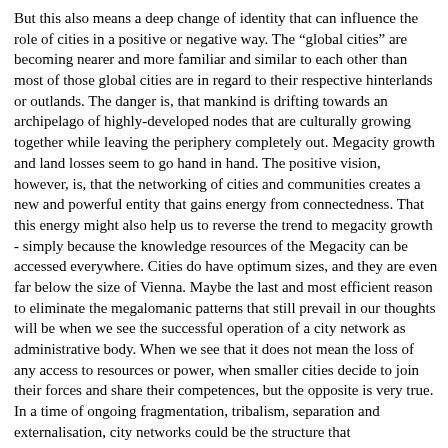But this also means a deep change of identity that can influence the role of cities in a positive or negative way. The "global cities" are becoming nearer and more familiar and similar to each other than most of those global cities are in regard to their respective hinterlands or outlands. The danger is, that mankind is drifting towards an archipelago of highly-developed nodes that are culturally growing together while leaving the periphery completely out. Megacity growth and land losses seem to go hand in hand. The positive vision, however, is, that the networking of cities and communities creates a new and powerful entity that gains energy from connectedness. That this energy might also help us to reverse the trend to megacity growth - simply because the knowledge resources of the Megacity can be accessed everywhere. Cities do have optimum sizes, and they are even far below the size of Vienna. Maybe the last and most efficient reason to eliminate the megalomanic patterns that still prevail in our thoughts will be when we see the successful operation of a city network as administrative body. When we see that it does not mean the loss of any access to resources or power, when smaller cities decide to join their forces and share their competences, but the opposite is very true. In a time of ongoing fragmentation, tribalism, separation and externalisation, city networks could be the structure that